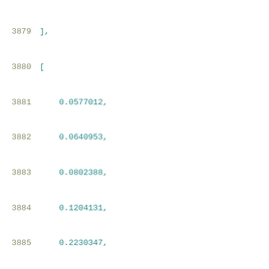3879    ],
3880    [
3881        0.0577012,
3882        0.0640953,
3883        0.0802388,
3884        0.1204131,
3885        0.2230347,
3886        0.5321328,
3887        1.4897747
3888    ],
3889    [
3890        0.0579838,
3891        0.0641178,
3892        0.0803989,
3893        0.1201972,
3894        0.2233812,
3895        0.5331866,
3896        1.4957949
3897    ],
3898    [
3899        0.0601271,
3900        ...